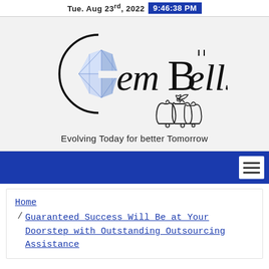Tue. Aug 23rd, 2022  9:46:38 PM
[Figure (logo): GemBells logo with a diamond gem and decorative bells with a bow]
Evolving Today for better Tomorrow
Navigation menu (hamburger icon)
Home / Guaranteed Success Will Be at Your Doorstep with Outstanding Outsourcing Assistance